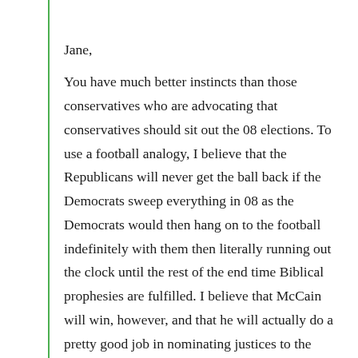Jane,
You have much better instincts than those conservatives who are advocating that conservatives should sit out the 08 elections. To use a football analogy, I believe that the Republicans will never get the ball back if the Democrats sweep everything in 08 as the Democrats would then hang on to the football indefinitely with them then literally running out the clock until the rest of the end time Biblical prophesies are fulfilled. I believe that McCain will win, however, and that he will actually do a pretty good job in nominating justices to the Supreme Court and judges to the federal